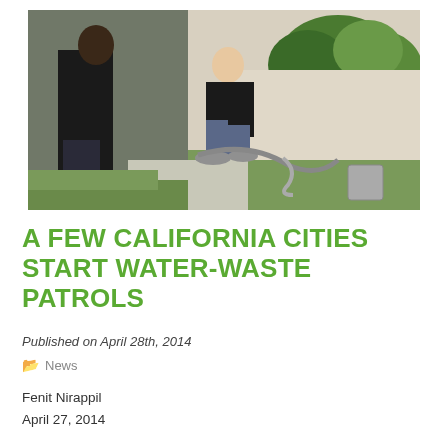[Figure (photo): Two men near the side of a house working with irrigation or water equipment on a lawn. One man is crouching adjusting tubing while another stands beside him. Green shrubs and grass visible in background.]
A FEW CALIFORNIA CITIES START WATER-WASTE PATROLS
Published on April 28th, 2014
News
Fenit Nirappil
April 27, 2014